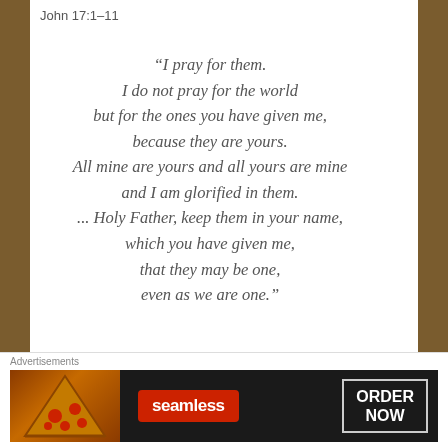John 17:1–11
“I pray for them.
I do not pray for the world
but for the ones you have given me,
because they are yours.
All mine are yours and all yours are mine
and I am glorified in them.
... Holy Father, keep them in your name,
which you have given me,
that they may be one,
even as we are one.”
John 17:9–11
Advertisements